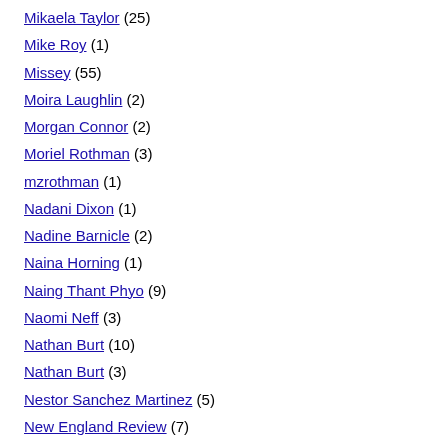Mikaela Taylor (25)
Mike Roy (1)
Missey (55)
Moira Laughlin (2)
Morgan Connor (2)
Moriel Rothman (3)
mzrothman (1)
Nadani Dixon (1)
Nadine Barnicle (2)
Naina Horning (1)
Naing Thant Phyo (9)
Naomi Neff (3)
Nathan Burt (10)
Nathan Burt (3)
Nestor Sanchez Martinez (5)
New England Review (7)
Nicole Barron (8)
Nicole Veilleux (859)
Nordstrofslder (1)